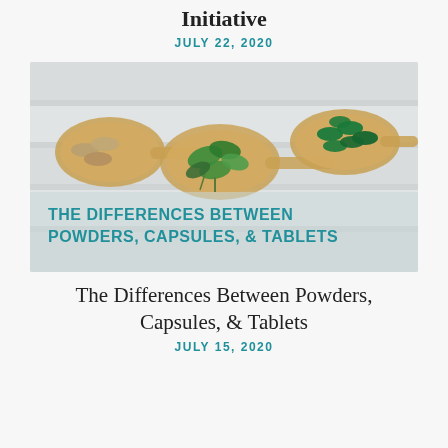Initiative
JULY 22, 2020
[Figure (photo): Three wooden spoons on a white wooden surface: left spoon has tan capsules, center spoon has fresh green herbs/leaves, right spoon has green capsules. Text overlay reads: THE DIFFERENCES BETWEEN POWDERS, CAPSULES, & TABLETS]
The Differences Between Powders, Capsules, & Tablets
JULY 15, 2020